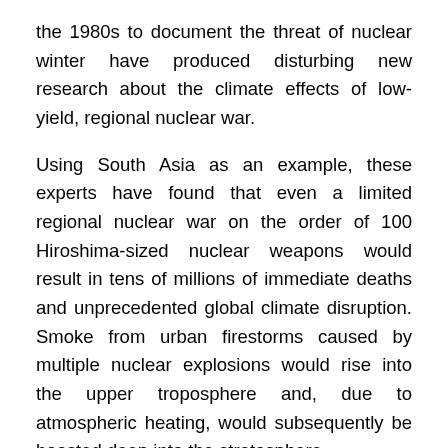the 1980s to document the threat of nuclear winter have produced disturbing new research about the climate effects of low-yield, regional nuclear war.
Using South Asia as an example, these experts have found that even a limited regional nuclear war on the order of 100 Hiroshima-sized nuclear weapons would result in tens of millions of immediate deaths and unprecedented global climate disruption. Smoke from urban firestorms caused by multiple nuclear explosions would rise into the upper troposphere and, due to atmospheric heating, would subsequently be boosted deep into the stratosphere.
The resulting soot cloud would block 7–10% of warming sunlight from reaching the Earth's surface, leading to significant cooling and reductions in precipitation lasting for more than a decade. Within 10 days following the